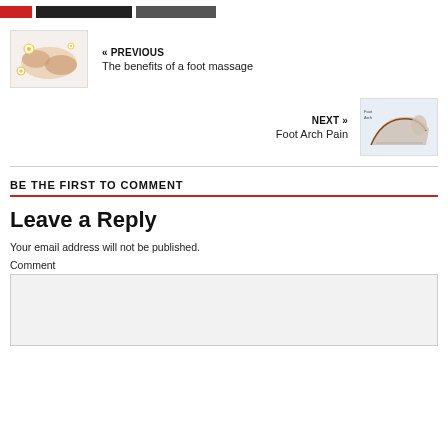[Figure (other): Top navigation bar with red, dark, and gray colored blocks]
[Figure (photo): Thumbnail of foot massage - hands massaging a foot with flowers]
« PREVIOUS
The benefits of a foot massage
[Figure (photo): Thumbnail of foot arch anatomy diagram]
NEXT »
Foot Arch Pain
BE THE FIRST TO COMMENT
Leave a Reply
Your email address will not be published.
Comment